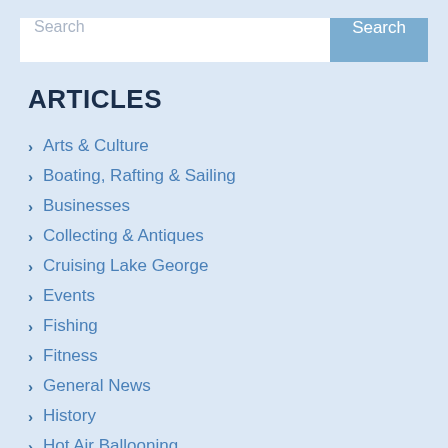Search
ARTICLES
Arts & Culture
Boating, Rafting & Sailing
Businesses
Collecting & Antiques
Cruising Lake George
Events
Fishing
Fitness
General News
History
Hot Air Ballooning